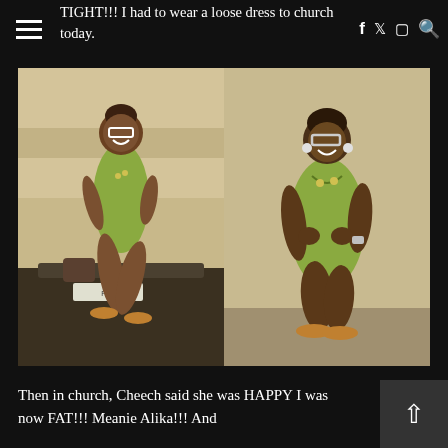TIGHT!!! I had to wear a loose dress to church today.
[Figure (photo): Two side-by-side photos of a smiling woman wearing a green dress. Left photo: she sits on the trunk of a car outside a building with wire fencing. Right photo: she stands leaning against a wall, wearing glasses.]
Then in church, Cheech said she was HAPPY I was now FAT!!! Meanie Alika!!! And